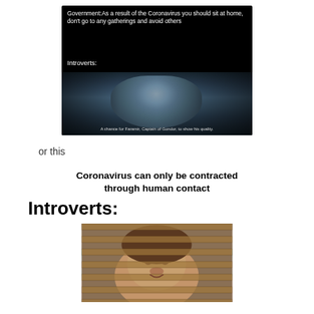[Figure (photo): Meme image on dark background. Top text reads: 'Government:As a result of the Coronavirus you should sit at home, don't go to any gatherings and avoid others'. Below that: 'Introverts:'. Then a cinematic close-up of a man with long wavy hair looking content/smirking, from a fantasy movie scene. Subtitle at bottom: 'A chance for Faramir, Captain of Gondor, to show his quality.']
or this
[Figure (photo): Meme with bold text: 'Coronavirus can only be contracted through human contact' and 'Introverts:' in very large bold font. Below is a photo of a man (Jim Halpert from The Office) peeking through Venetian blinds with a smug/knowing expression.]